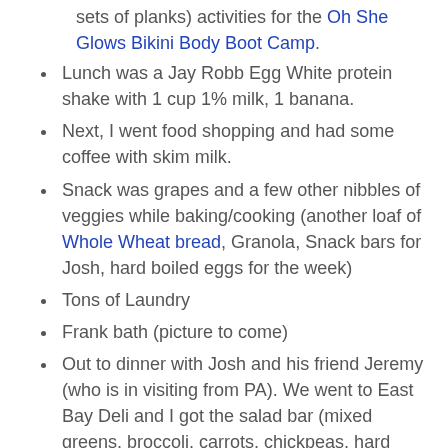sets of planks) activities for the Oh She Glows Bikini Body Boot Camp.
Lunch was a Jay Robb Egg White protein shake with 1 cup 1% milk, 1 banana.
Next, I went food shopping and had some coffee with skim milk.
Snack was grapes and a few other nibbles of veggies while baking/cooking (another loaf of Whole Wheat bread, Granola, Snack bars for Josh, hard boiled eggs for the week)
Tons of Laundry
Frank bath (picture to come)
Out to dinner with Josh and his friend Jeremy (who is in visiting from PA). We went to East Bay Deli and I got the salad bar (mixed greens, broccoli, carrots, chickpeas, hard boiled egg whites, mixed fruit, baby corn, olive oil, vinegar)
Ok, my eyes are closing :) I promise to do more commenting tomorrow! How was your weekend?